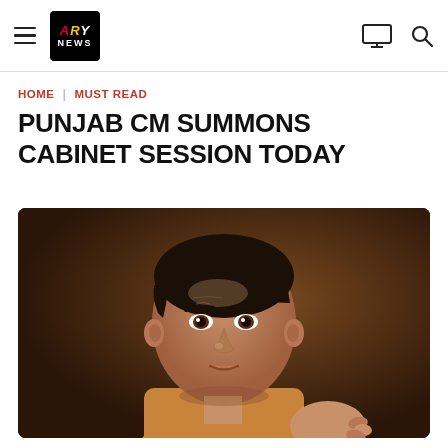ARY NEWS navigation header
HOME | MUST READ
PUNJAB CM SUMMONS CABINET SESSION TODAY
[Figure (photo): A man in a golden/mustard kurta gesturing with one hand, photographed against a dark brown background — appears to be a Pakistani politician speaking or making a point]